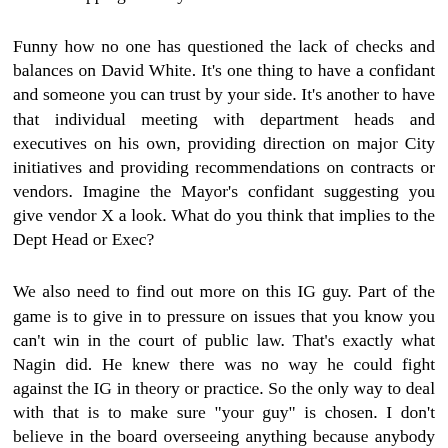astute in tipping the City off so fast.
Funny how no one has questioned the lack of checks and balances on David White. It's one thing to have a confidant and someone you can trust by your side. It's another to have that individual meeting with department heads and executives on his own, providing direction on major City initiatives and providing recommendations on contracts or vendors. Imagine the Mayor's confidant suggesting you give vendor X a look. What do you think that implies to the Dept Head or Exec?
We also need to find out more on this IG guy. Part of the game is to give in to pressure on issues that you know you can't win in the court of public law. That's exactly what Nagin did. He knew there was no way he could fight against the IG in theory or practice. So the only way to deal with that is to make sure "your guy" is chosen. I don't believe in the board overseeing anything because anybody can be bought. This City has proven that countless times. We need to know who this guy is connected to. Who he has met with before and during his candidacy for the position. I wouldn't be surprised to find Meffert or someone